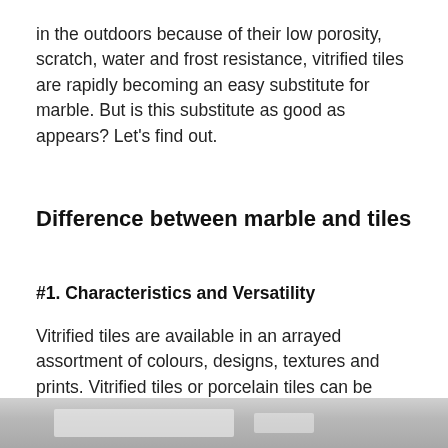in the outdoors because of their low porosity, scratch, water and frost resistance, vitrified tiles are rapidly becoming an easy substitute for marble. But is this substitute as good as appears? Let's find out.
Difference between marble and tiles
#1. Characteristics and Versatility
Vitrified tiles are available in an arrayed assortment of colours, designs, textures and prints. Vitrified tiles or porcelain tiles can be found in anti-skid, granular or glossy variants. They sometimes combine such designing elements within their synthesizing materials that they easily simulate natural flooring options like wood and marble.
[Figure (photo): A partial photo strip visible at the bottom of the page showing what appears to be floor tiles or marble surface.]